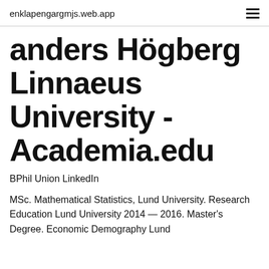enklapengargmjs.web.app
anders Högberg Linnaeus University - Academia.edu
BPhil Union LinkedIn
MSc. Mathematical Statistics, Lund University. Research Education Lund University 2014 — 2016. Master's Degree. Economic Demography Lund